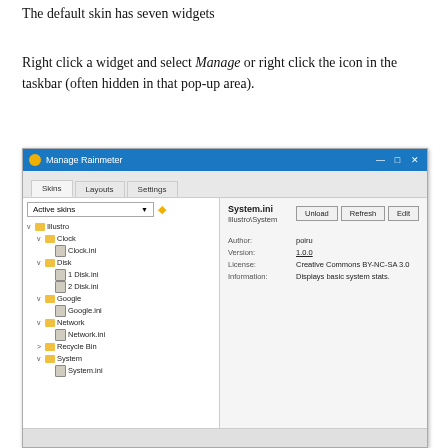The default skin has seven widgets
Right click a widget and select Manage or right click the icon in the taskbar (often hidden in that pop-up area).
[Figure (screenshot): Screenshot of the Manage Rainmeter application window showing the Skins tab with a tree view of active skins (Illustro with Clock, Disk, Google, Network, Recycle Bin, System) on the left and skin details (System.ini, Illustro System, Author: poiru, Version: 1.0.0, License: Creative Commons BY-NC-SA 3.0, Information: Displays basic system stats.) on the right, with Unload, Refresh, and Edit buttons.]